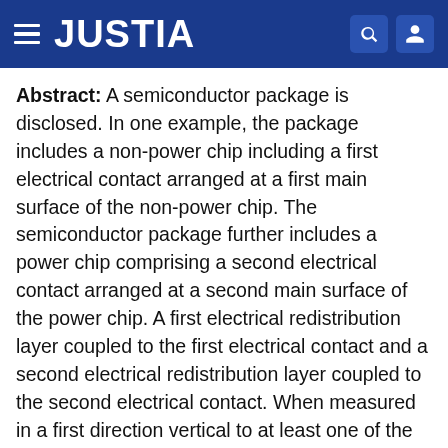JUSTIA
Abstract: A semiconductor package is disclosed. In one example, the package includes a non-power chip including a first electrical contact arranged at a first main surface of the non-power chip. The semiconductor package further includes a power chip comprising a second electrical contact arranged at a second main surface of the power chip. A first electrical redistribution layer coupled to the first electrical contact and a second electrical redistribution layer coupled to the second electrical contact. When measured in a first direction vertical to at least one of the first main surface or the second main surface, a maximum thickness of at least a section of the first electrical redistribution layer is smaller than a maximum thickness of the second electrical redistribution layer.
Type: Application
Filed: